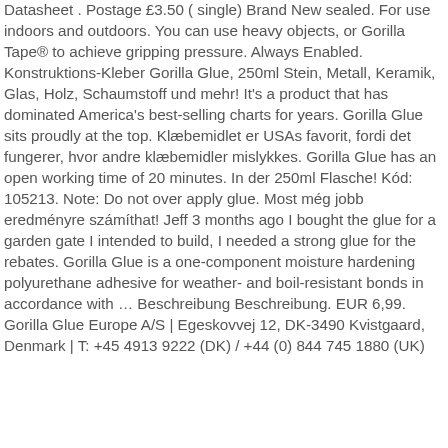Datasheet . Postage £3.50 ( single) Brand New sealed. For use indoors and outdoors. You can use heavy objects, or Gorilla Tape® to achieve gripping pressure. Always Enabled. Konstruktions-Kleber Gorilla Glue, 250ml Stein, Metall, Keramik, Glas, Holz, Schaumstoff und mehr! It's a product that has dominated America's best-selling charts for years. Gorilla Glue sits proudly at the top. Klæbemidlet er USAs favorit, fordi det fungerer, hvor andre klæbemidler mislykkes. Gorilla Glue has an open working time of 20 minutes. In der 250ml Flasche! Kód: 105213. Note: Do not over apply glue. Most még jobb eredményre számíthat! Jeff 3 months ago I bought the glue for a garden gate I intended to build, I needed a strong glue for the rebates. Gorilla Glue is a one-component moisture hardening polyurethane adhesive for weather- and boil-resistant bonds in accordance with … Beschreibung Beschreibung. EUR 6,99. Gorilla Glue Europe A/S | Egeskovvej 12, DK-3490 Kvistgaard, Denmark | T: +45 4913 9222 (DK) / +44 (0) 844 745 1880 (UK)